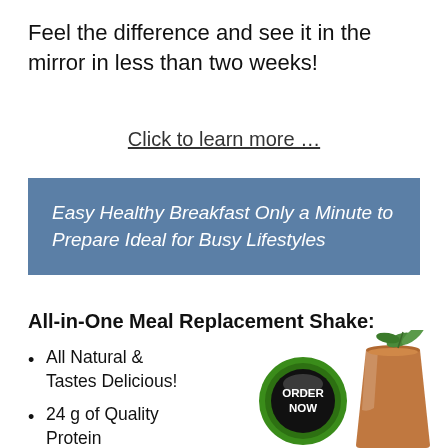Feel the difference and see it in the mirror in less than two weeks!
Click to learn more …
Easy Healthy Breakfast Only a Minute to Prepare Ideal for Busy Lifestyles
All-in-One Meal Replacement Shake:
All Natural & Tastes Delicious!
24 g of Quality Protein
Good Fats & Low Glycemic
[Figure (illustration): Green ORDER NOW button (circular, glossy green with black center and white text)]
[Figure (photo): A chocolate meal replacement shake in a glass with green mint leaves on top]